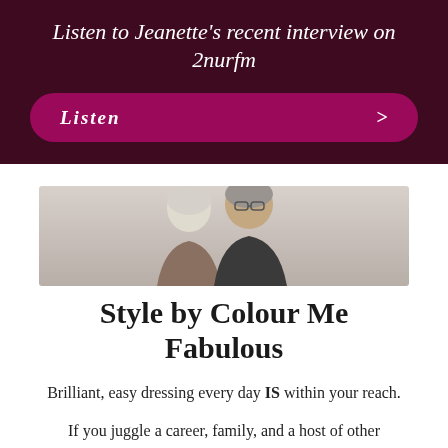Listen to Jeanette’s recent interview on 2nurfm
[Figure (illustration): A magenta/purple rounded button with the text 'Listen' and a right-pointing chevron arrow]
[Figure (photo): An older couple, a white-haired woman and a grey-haired man wearing glasses, photographed from the shoulders up against a light grey background]
Style by Colour Me Fabulous
Brilliant, easy dressing every day IS within your reach.
If you juggle a career, family, and a host of other responsibilities, the last thing you need